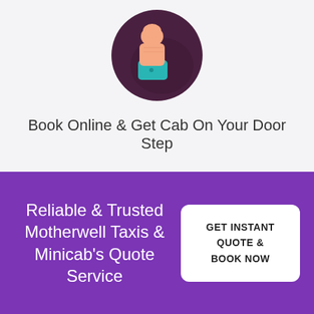[Figure (illustration): Thumbs up icon inside a dark circular background, hand wearing a teal cuff]
Book Online & Get Cab On Your Door Step
Reliable & Trusted Motherwell Taxis & Minicab's Quote Service
GET INSTANT QUOTE & BOOK NOW